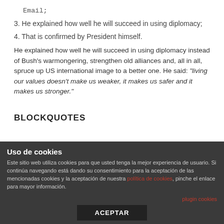Email;
3. He explained how well he will succeed in using diplomacy;
4. That is confirmed by President himself.
He explained how well he will succeed in using diplomacy instead of Bush's warmongering, strengthen old alliances and, all in all, spruce up US international image to a better one. He said: "living our values doesn't make us weaker, it makes us safer and it makes us stronger."
BLOCKQUOTES
Uso de cookies
Este sitio web utiliza cookies para que usted tenga la mejor experiencia de usuario. Si continúa navegando está dando su consentimiento para la aceptación de las mencionadas cookies y la aceptación de nuestra política de cookies, pinche el enlace para mayor información.
plugin cookies
ACEPTAR